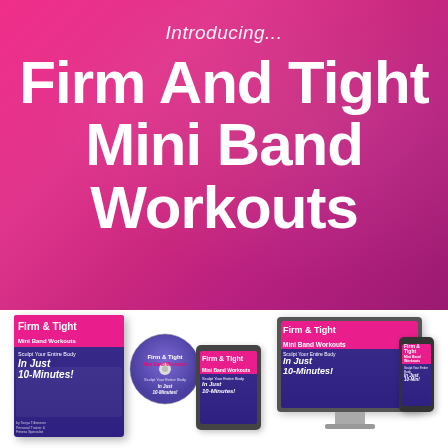Introducing...
Firm And Tight Mini Band Workouts
[Figure (illustration): Product lineup showing DVD box, DVD disc, tablet, desktop monitor, and smartphone all displaying 'Firm & Tight Mini Band Workouts' covers with purple and pink branding]